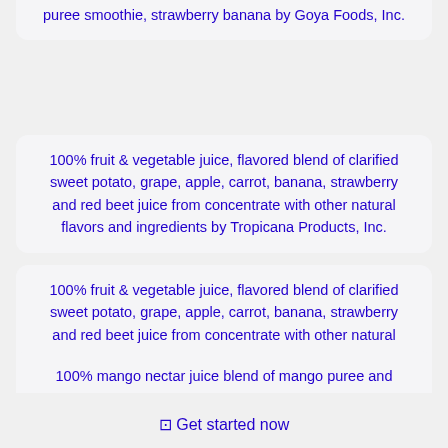puree smoothie, strawberry banana by Goya Foods, Inc.
100% fruit & vegetable juice, flavored blend of clarified sweet potato, grape, apple, carrot, banana, strawberry and red beet juice from concentrate with other natural flavors and ingredients by Tropicana Products, Inc.
100% fruit & vegetable juice, flavored blend of clarified sweet potato, grape, apple, carrot, banana, strawberry and red beet juice from concentrate with other natural flavors and ingredients by Tropicana Products, Inc.
100% mango nectar juice blend of mango puree and
⊡ Get started now